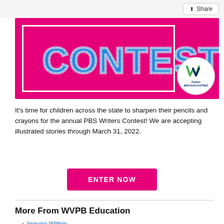[Figure (illustration): Contest promotional banner with pink background showing 'CONTEST' in large blue block letters with white border frame and WV Public Broadcasting logo in white circle]
It's time for children across the state to sharpen their pencils and crayons for the annual PBS Writers Contest! We are accepting illustrated stories through March 31, 2022.
[Figure (other): ENTER NOW button — pink/magenta rounded rectangle call-to-action button]
More From WVPB Education
Inquire Within
Library Pathfinders
Above and Beyond